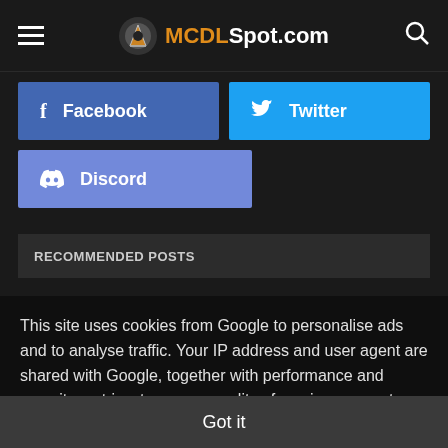MCDLSpot.com
Facebook
Twitter
Discord
RECOMMENDED POSTS
This site uses cookies from Google to personalise ads and to analyse traffic. Your IP address and user agent are shared with Google, together with performance and security metrics, to ensure quality of service, generate usage statistics and to detect abuse. Learn more
Got it